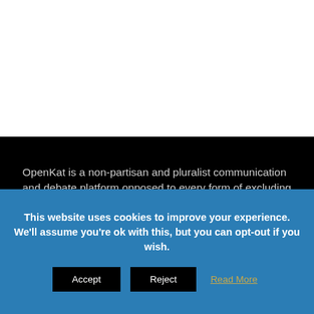OpenKat is a non-partisan and pluralist communication and debate platform opposed to every form of excluding nationalism, defending the rule of law and democracy in Catalonia, Spain and the European Union.
This website uses cookies to improve your experience. We'll assume you're ok with this, but you can opt-out if you wish.